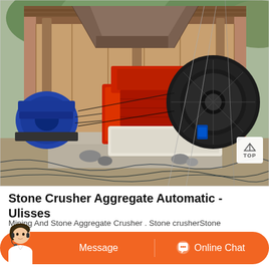[Figure (photo): Stone crusher aggregate machine at an outdoor industrial site. A large red and white jaw crusher is visible in the center, with a large black flywheel on the right, a blue electric motor on the left, a metal frame structure, and conveyor/hopper equipment above. The setting is an open-air quarry or crushing plant.]
Stone Crusher Aggregate Automatic - Ulisses
Mining And Stone Aggregate Crusher . Stone crusherStone
crushing line which can be used for primary secondary and fine